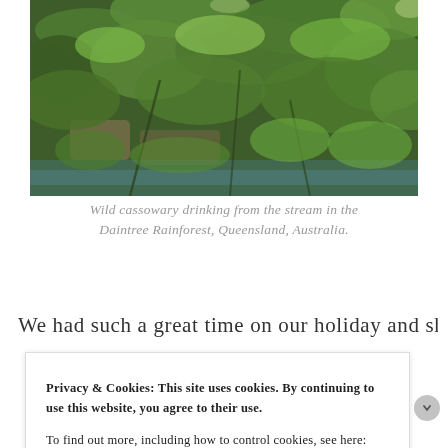[Figure (photo): Photo of dense tropical rainforest vegetation with green leaves and foliage, a wild cassowary drinking from a stream in the Daintree Rainforest]
Wild cassowary drinking from the stream in the Daintree Rainforest, Queensland, Australia.
We had such a great time on our holiday and shared so
Privacy & Cookies: This site uses cookies. By continuing to use this website, you agree to their use.
To find out more, including how to control cookies, see here: Cookie Policy
CLOSE AND ACCEPT